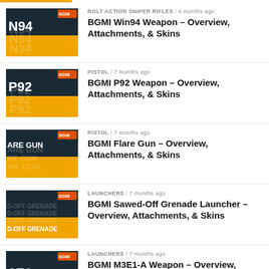BOLT ACTION SNIPER RIFLES / 6 months ago — BGMI Win94 Weapon – Overview, Attachments, & Skins
PISTOL / 7 months ago — BGMI P92 Weapon – Overview, Attachments, & Skins
PISTOL / 7 months ago — BGMI Flare Gun – Overview, Attachments, & Skins
LAUNCHERS / 7 months ago — BGMI Sawed-Off Grenade Launcher – Overview, Attachments, & Skins
LAUNCHERS / 7 months ago — BGMI M3E1-A Weapon – Overview, Attachments, & Skins